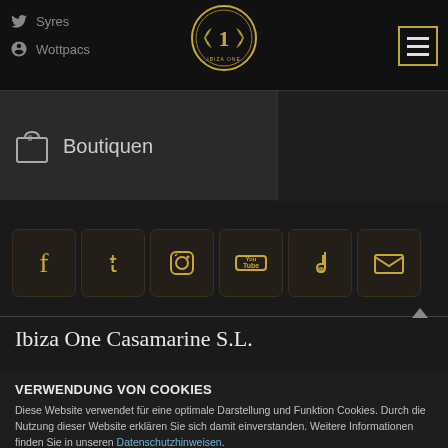Syres | Wottpacs
[Figure (logo): Ibiza One circular logo with number 1 and laurel wreath, gold on dark background]
Boutiquen
[Figure (infographic): Social media icons row: Facebook, Twitter, Instagram, YouTube, Music, Email — gold icons on dark square buttons]
Ibiza One Casamarine S.L.
VERWENDUNG VON COOKIES
Diese Website verwendet für eine optimale Darstellung und Funktion Cookies. Durch die Nutzung dieser Website erklären Sie sich damit einverstanden. Weitere Informationen finden Sie in unseren Datenschutzhinweisen.
Akzeptieren